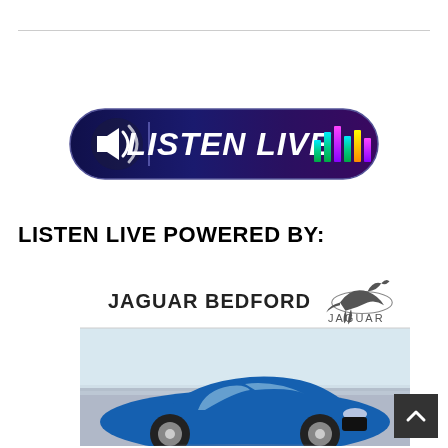[Figure (logo): LISTEN LIVE button with dark navy/purple gradient pill shape, speaker icon on left, colorful audio equalizer bars on right, bold white italic text 'LISTEN LIVE' in center]
LISTEN LIVE POWERED BY:
[Figure (photo): Jaguar Bedford advertisement showing a blue Jaguar F-Type sports car on a road, with 'JAGUAR BEDFORD' text and Jaguar leaping cat logo in top area]